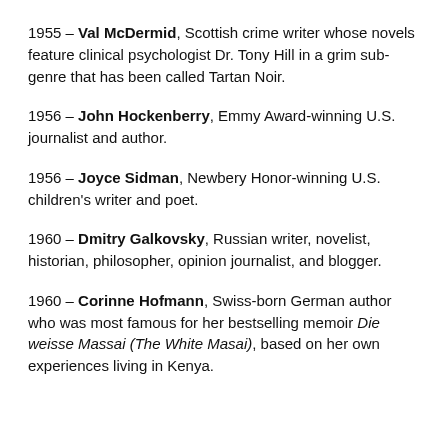1955 – Val McDermid, Scottish crime writer whose novels feature clinical psychologist Dr. Tony Hill in a grim sub-genre that has been called Tartan Noir.
1956 – John Hockenberry, Emmy Award-winning U.S. journalist and author.
1956 – Joyce Sidman, Newbery Honor-winning U.S. children's writer and poet.
1960 – Dmitry Galkovsky, Russian writer, novelist, historian, philosopher, opinion journalist, and blogger.
1960 – Corinne Hofmann, Swiss-born German author who was most famous for her bestselling memoir Die weisse Massai (The White Masai), based on her own experiences living in Kenya.